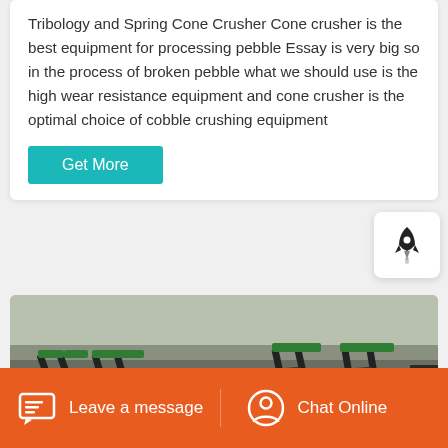Tribology and Spring Cone Crusher Cone crusher is the best equipment for processing pebble Essay is very big so in the process of broken pebble what we should use is the high wear resistance equipment and cone crusher is the optimal choice of cobble crushing equipment
[Figure (other): Get More button - teal/cyan colored CTA button]
[Figure (photo): Industrial conveyor belt and crusher equipment at a mining or quarrying site, outdoor setting with arid landscape in background]
Leave a message
Chat Online